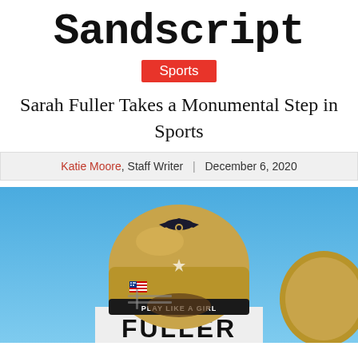Sandscript
Sports
Sarah Fuller Takes a Monumental Step in Sports
Katie Moore, Staff Writer | December 6, 2020
[Figure (photo): Back view of a football player wearing a gold Vanderbilt helmet with 'PLAY LIKE A GIRL' decal and an American flag sticker, with 'FULLER' printed on the white jersey. Blue sky background.]